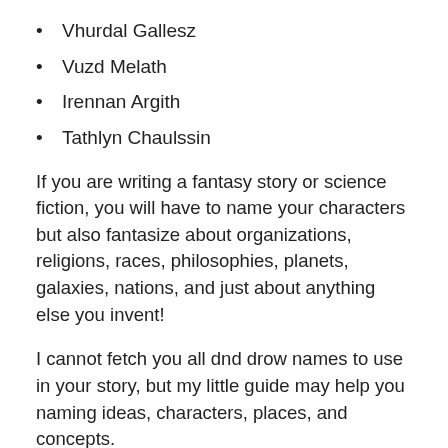Vhurdal Gallesz
Vuzd Melath
Irennan Argith
Tathlyn Chaulssin
If you are writing a fantasy story or science fiction, you will have to name your characters but also fantasize about organizations, religions, races, philosophies, planets, galaxies, nations, and just about anything else you invent!
I cannot fetch you all dnd drow names to use in your story, but my little guide may help you naming ideas, characters, places, and concepts.
1. One of the good ways to name something is to simply change one or two letters of a real or known